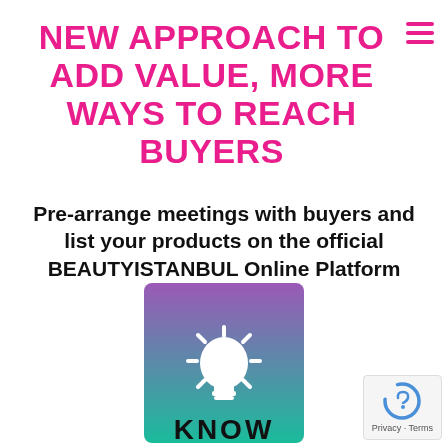NEW APPROACH TO ADD VALUE, MORE WAYS TO REACH BUYERS
Pre-arrange meetings with buyers and list your products on the official BEAUTYISTANBUL Online Platform
[Figure (illustration): A light bulb icon on a purple-to-teal gradient square background]
KNOW